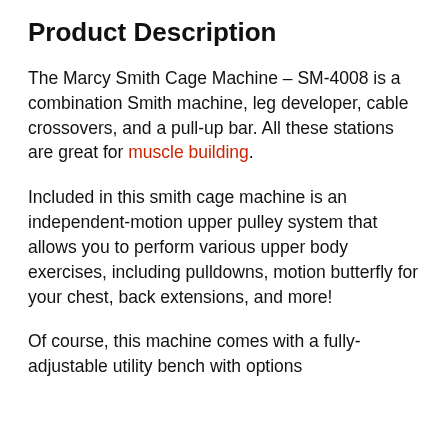Product Description
The Marcy Smith Cage Machine – SM-4008 is a combination Smith machine, leg developer, cable crossovers, and a pull-up bar. All these stations are great for muscle building.
Included in this smith cage machine is an independent-motion upper pulley system that allows you to perform various upper body exercises, including pulldowns, motion butterfly for your chest, back extensions, and more!
Of course, this machine comes with a fully-adjustable utility bench with options